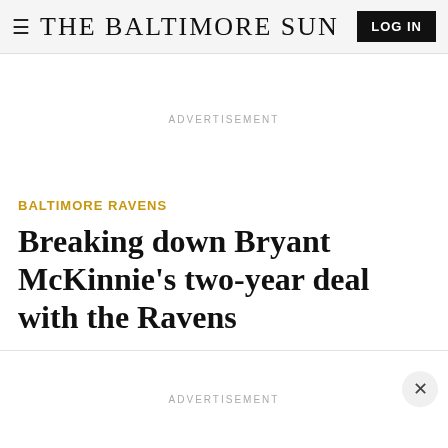≡ THE BALTIMORE SUN  LOG IN
ADVERTISEMENT
BALTIMORE RAVENS
Breaking down Bryant McKinnie's two-year deal with the Ravens
ADVERTISEMENT